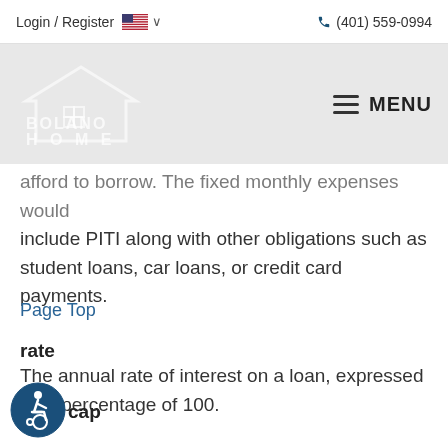Login / Register  🇺🇸 ∨   (401) 559-0994
[Figure (logo): Bolano Home logo — house outline with grid windows, text BOLANO HOME in white on grey background]
afford to borrow. The fixed monthly expenses would include PITI along with other obligations such as student loans, car loans, or credit card payments.
Page Top
rate
The annual rate of interest on a loan, expressed as a percentage of 100.
rate cap